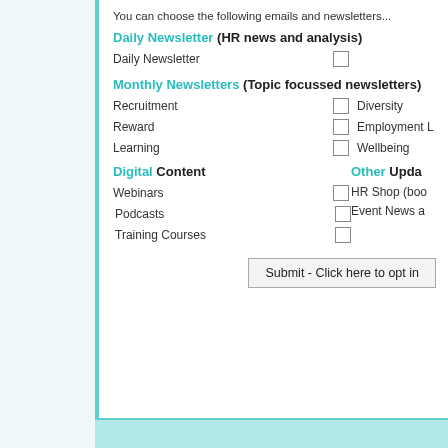You can choose the following emails and newsletters...
Daily Newsletter (HR news and analysis)
Daily Newsletter [checkbox]
Monthly Newsletters (Topic focussed newsletters)
Recruitment [checkbox]   Diversity
Reward [checkbox]   Employment L
Learning [checkbox]   Wellbeing
Digital Content   Other Upda
Webinars [checkbox]   HR Shop (boo
Podcasts [checkbox]   Event News a
Training Courses [checkbox]
Submit - Click here to opt in